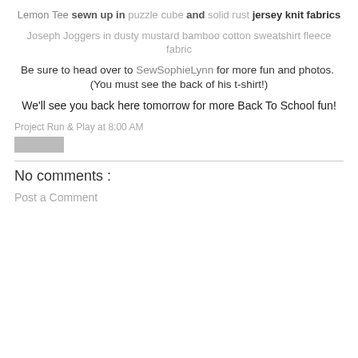Lemon Tee sewn up in puzzle cube and solid rust jersey knit fabrics
Joseph Joggers in dusty mustard bamboo cotton sweatshirt fleece fabric
Be sure to head over to SewSophieLynn for more fun and photos.  (You must see the back of his t-shirt!)
We'll see you back here tomorrow for more Back To School fun!
Project Run & Play at 8:00 AM
No comments :
Post a Comment